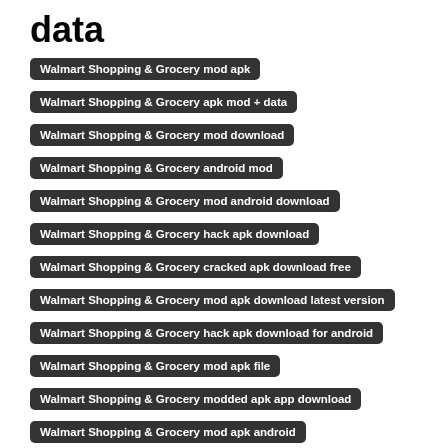data
Walmart Shopping & Grocery mod apk
Walmart Shopping & Grocery apk mod + data
Walmart Shopping & Grocery mod download
Walmart Shopping & Grocery android mod
Walmart Shopping & Grocery mod android download
Walmart Shopping & Grocery hack apk download
Walmart Shopping & Grocery cracked apk download free
Walmart Shopping & Grocery mod apk download latest version
Walmart Shopping & Grocery hack apk download for android
Walmart Shopping & Grocery mod apk file
Walmart Shopping & Grocery modded apk app download
Walmart Shopping & Grocery mod apk android
Download Walmart Shopping & Grocery cracked apk download free
Download Walmart Shopping & Grocery hacked version apk downlo...
Download Walmart Shopping & Grocery modded apk android
Download Walmart Shopping & Grocery mod apk free
Download Walmart Shopping & Grocery hack apk for chromebook